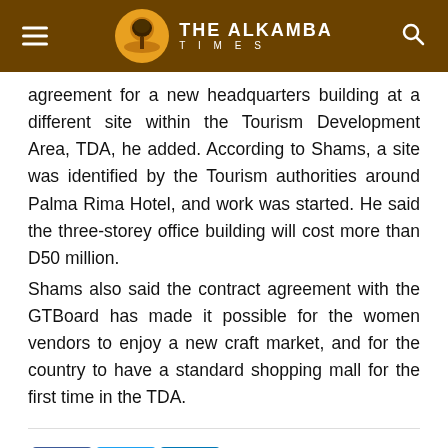THE ALKAMBA TIMES
agreement for a new headquarters building at a different site within the Tourism Development Area, TDA, he added. According to Shams, a site was identified by the Tourism authorities around Palma Rima Hotel, and work was started. He said the three-storey office building will cost more than D50 million.
Shams also said the contract agreement with the GTBoard has made it possible for the women vendors to enjoy a new craft market, and for the country to have a standard shopping mall for the first time in the TDA.